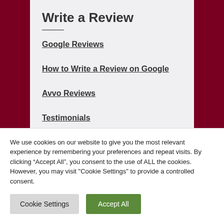Write a Review
Google Reviews
How to Write a Review on Google
Avvo Reviews
Testimonials
We use cookies on our website to give you the most relevant experience by remembering your preferences and repeat visits. By clicking “Accept All”, you consent to the use of ALL the cookies. However, you may visit "Cookie Settings" to provide a controlled consent.
Cookie Settings | Accept All